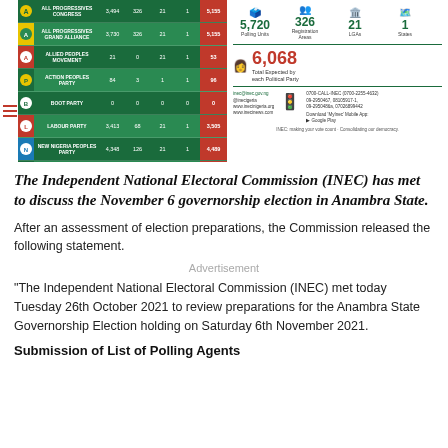[Figure (infographic): INEC infographic showing election statistics for Anambra State: 5,720 Polling Units, 326 Registration Areas, 21 LGAs, 1 State, 6,068 Total Expected by each Political Party. Left side shows a table of political parties with candidate counts. Contact information and INEC branding shown.]
The Independent National Electoral Commission (INEC) has met to discuss the November 6 governorship election in Anambra State.
After an assessment of election preparations, the Commission released the following statement.
Advertisement
“The Independent National Electoral Commission (INEC) met today Tuesday 26th October 2021 to review preparations for the Anambra State Governorship Election holding on Saturday 6th November 2021.
Submission of List of Polling Agents